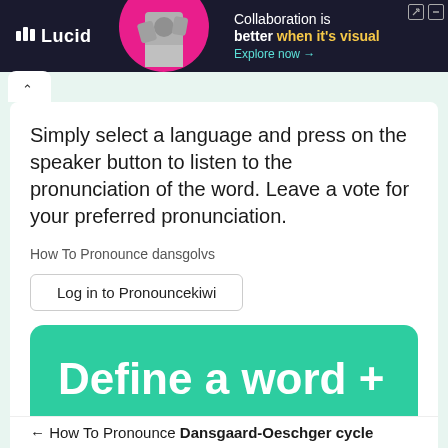[Figure (screenshot): Lucid advertisement banner: dark background with logo, person image with pink circle, text 'Collaboration is better when it's visual', 'Explore now →']
Simply select a language and press on the speaker button to listen to the pronunciation of the word. Leave a vote for your preferred pronunciation.
How To Pronounce dansgolvs
Log in to Pronouncekiwi
Define a word +
← How To Pronounce Dansgaard-Oeschger cycle